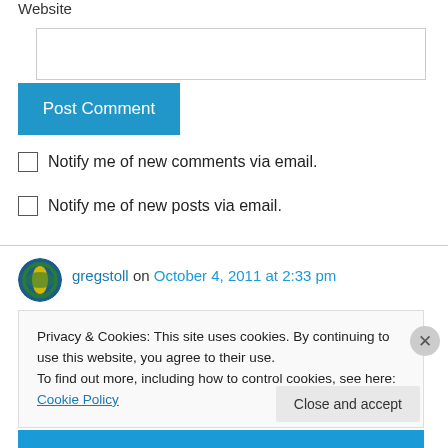Website
Post Comment
Notify me of new comments via email.
Notify me of new posts via email.
gregstoll on October 4, 2011 at 2:33 pm
Privacy & Cookies: This site uses cookies. By continuing to use this website, you agree to their use.
To find out more, including how to control cookies, see here: Cookie Policy
Close and accept